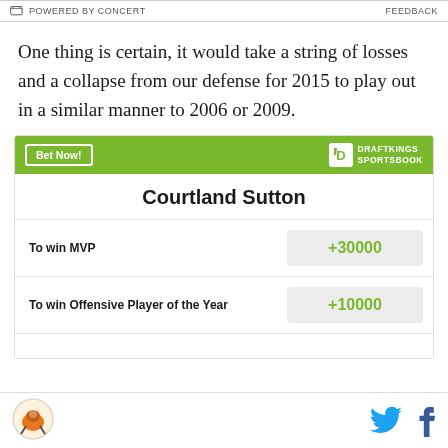POWERED BY CONCERT   FEEDBACK
One thing is certain, it would take a string of losses and a collapse from our defense for 2015 to play out in a similar manner to 2006 or 2009.
| Courtland Sutton |  |
| --- | --- |
| To win MVP | +30000 |
| To win Offensive Player of the Year | +10000 |